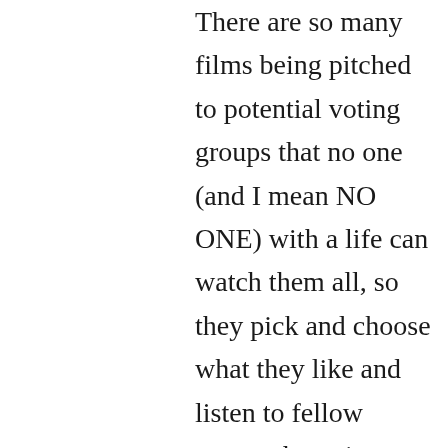There are so many films being pitched to potential voting groups that no one (and I mean NO ONE) with a life can watch them all, so they pick and choose what they like and listen to fellow voters champion their favorites. Those early winners tend to allow Acedemy and other award groups to whittle down their piles to a few select choices. Savvy marketers can influence these votes by